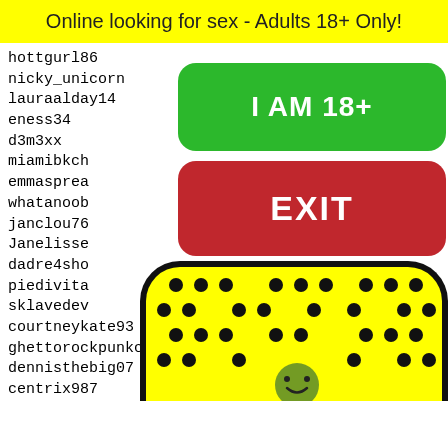Online looking for sex - Adults 18+ Only!
hottgurl86
nicky_unicorn
lauraalday14
eness34
d3m3xx
miamibkch
emmasprea
whatanoob
janclou76
Janelisse
dadre4sho
piedivita
sklavedev
courtneykate93
ghettorockpunkchick
dennisthebig07
centrix987
cityEddie21.  28500 28501 28502 28503 28504
dallas311iscool
alesicl
seeepu
Porte2
susani
conche
jguy79
[Figure (illustration): Yellow rounded rectangle with black dots pattern and a smiling face emoji at the bottom, resembling a game controller or smiley face graphic]
[Figure (other): Green button labeled I AM 18+ and red button labeled EXIT overlaid on the user list]